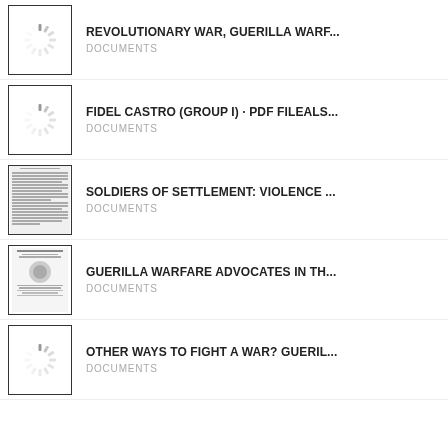REVOLUTIONARY WAR, GUERILLA WARF... | DOCUMENTS
FIDEL CASTRO (GROUP I) · PDF FILEALS... | DOCUMENTS
SOLDIERS OF SETTLEMENT: VIOLENCE ... | DOCUMENTS
GUERILLA WARFARE ADVOCATES IN TH... | DOCUMENTS
OTHER WAYS TO FIGHT A WAR? GUERIL... | DOCUMENTS